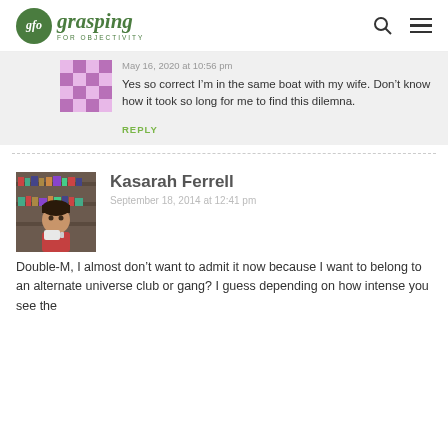gfo grasping FOR OBJECTIVITY
May 16, 2020 at 10:56 pm
Yes so correct I’m in the same boat with my wife. Don’t know how it took so long for me to find this dilemna.
REPLY
Kasarah Ferrell
September 18, 2014 at 12:41 pm
Double-M, I almost don’t want to admit it now because I want to belong to an alternate universe club or gang? I guess depending on how intense you see the